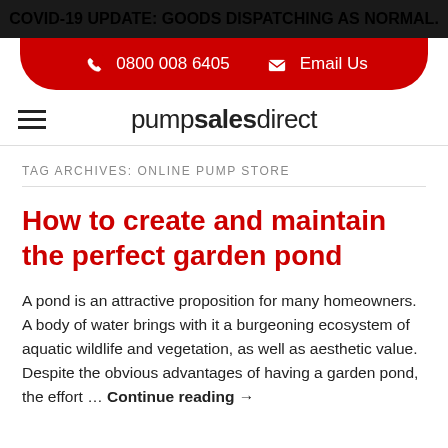COVID-19 UPDATE: GOODS DISPATCHING AS NORMAL.
0800 008 6405   Email Us
pumpsalesdirect
TAG ARCHIVES: ONLINE PUMP STORE
How to create and maintain the perfect garden pond
A pond is an attractive proposition for many homeowners. A body of water brings with it a burgeoning ecosystem of aquatic wildlife and vegetation, as well as aesthetic value. Despite the obvious advantages of having a garden pond, the effort … Continue reading →